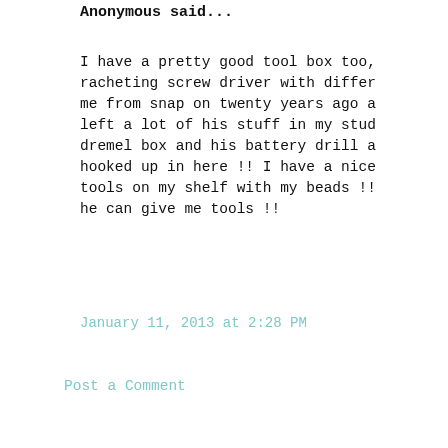Anonymous said...
I have a pretty good tool box too, racheting screw driver with differ me from snap on twenty years ago a left a lot of his stuff in my stud dremel box and his battery drill a hooked up in here !! I have a nice tools on my shelf with my beads !! he can give me tools !!
January 11, 2013 at 2:28 PM
Post a Comment